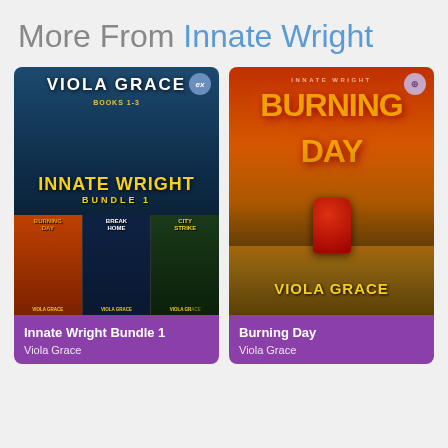More From Innate Wright
[Figure (illustration): Book cover for Innate Wright Bundle 1 by Viola Grace. Dark blue sci-fi cover featuring futuristic warriors, with 'VIOLA GRACE' at top, 'INNATE WRIGHT BUNDLE 1' in yellow text, and three mini covers at the bottom (Burning Day, Break Home, City Strike), all by Viola Grace.]
Innate Wright Bundle 1
Viola Grace
[Figure (illustration): Book cover for Burning Day by Viola Grace. Orange and red apocalyptic cover with 'INNATE WRIGHT' at top, 'BURNING DAY' in large yellow-orange text, a red robot/mech figure in the city, and 'VIOLA GRACE' at the bottom in yellow.]
Burning Day
Viola Grace